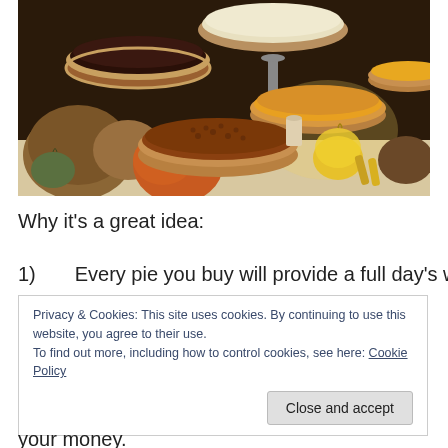[Figure (photo): A Thanksgiving-style display of multiple pies on a table with pumpkins and autumn decorations. Several pies visible including a chocolate pie, a pumpkin pie, a pecan pie, and others. Small pumpkins and autumn leaves are scattered around.]
Why it's a great idea:
1)	Every pie you buy will provide a full day's worth of
Privacy & Cookies: This site uses cookies. By continuing to use this website, you agree to their use.
To find out more, including how to control cookies, see here: Cookie Policy
your money.